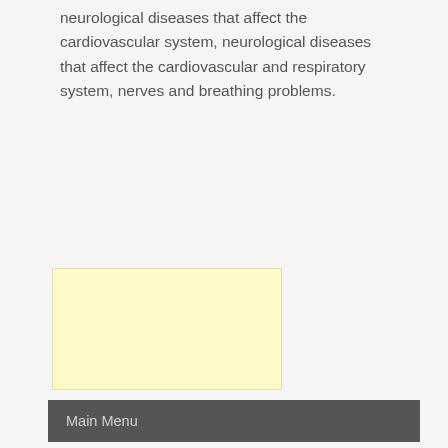neurological diseases that affect the cardiovascular system, neurological diseases that affect the cardiovascular and respiratory system, nerves and breathing problems.
[Figure (other): Yellow highlighted rectangular box, likely an image or advertisement placeholder]
Main Menu
Evaluation Strategy